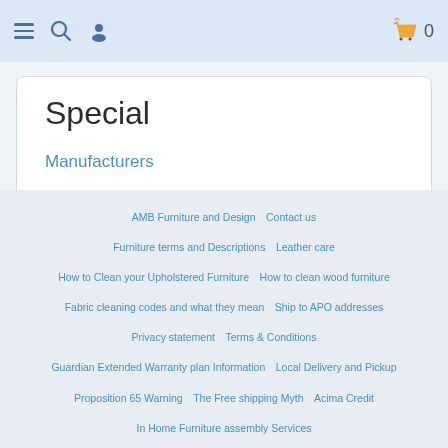Navigation bar with menu, search, user icons and shopping cart (0 items)
Special
Manufacturers
Special offers
Sitemap
New Arrivals
On sale
AMB Furniture and Design   Contact us   Furniture terms and Descriptions   Leather care   How to Clean your Upholstered Furniture   How to clean wood furniture   Fabric cleaning codes and what they mean   Ship to APO addresses   Privacy statement   Terms & Conditions   Guardian Extended Warranty plan Information   Local Delivery and Pickup   Proposition 65 Warning   The Free shipping Myth   Acima Credit   In Home Furniture assembly Services